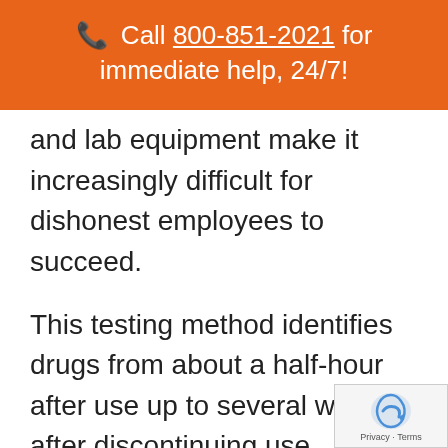📞 Call 800-851-2021 for immediate help, 24/7!
and lab equipment make it increasingly difficult for dishonest employees to succeed.
This testing method identifies drugs from about a half-hour after use up to several weeks after discontinuing use. Chronic marijuana use is an exception to the rule. Addicts can test positive up to thirty days. You can learn more